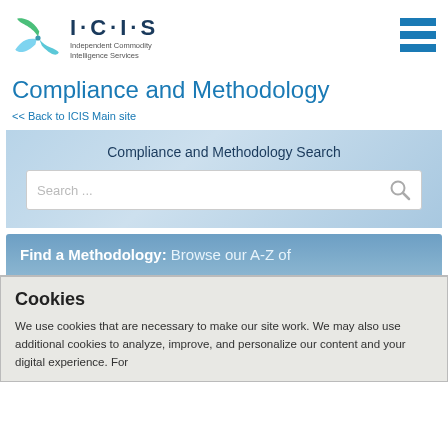ICIS - Independent Commodity Intelligence Services
Compliance and Methodology
<< Back to ICIS Main site
Compliance and Methodology Search
Find a Methodology: Browse our A-Z of
Cookies
We use cookies that are necessary to make our site work. We may also use additional cookies to analyze, improve, and personalize our content and your digital experience. For